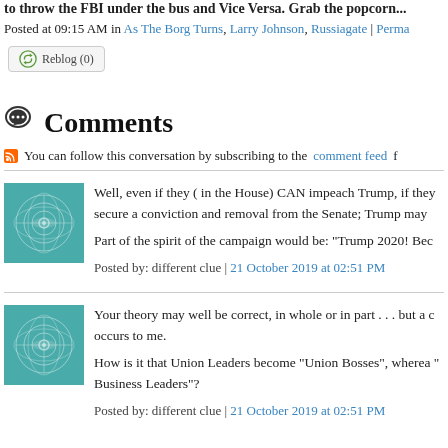to throw the FBI under the bus and Vice Versa. Grab the popcorn...
Posted at 09:15 AM in As The Borg Turns, Larry Johnson, Russiagate | Perma
[Figure (other): Reblog (0) button]
Comments
You can follow this conversation by subscribing to the comment feed f
[Figure (photo): User avatar - geometric teal pattern]
Well, even if they ( in the House) CAN impeach Trump, if they secure a conviction and removal from the Senate; Trump may

Part of the spirit of the campaign would be: "Trump 2020! Bec

Posted by: different clue | 21 October 2019 at 02:51 PM
[Figure (photo): User avatar - geometric teal pattern]
Your theory may well be correct, in whole or in part . . . but a c occurs to me.

How is it that Union Leaders become "Union Bosses", wherea " Business Leaders"?

Posted by: different clue | 21 October 2019 at 02:51 PM